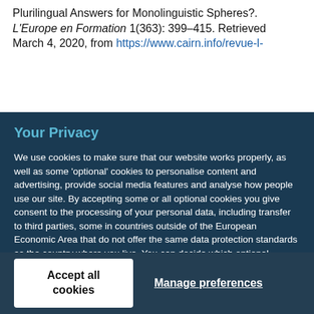Plurilingual Answers for Monolinguistic Spheres?. L'Europe en Formation 1(363): 399–415. Retrieved March 4, 2020, from https://www.cairn.info/revue-l-
Your Privacy
We use cookies to make sure that our website works properly, as well as some 'optional' cookies to personalise content and advertising, provide social media features and analyse how people use our site. By accepting some or all optional cookies you give consent to the processing of your personal data, including transfer to third parties, some in countries outside of the European Economic Area that do not offer the same data protection standards as the country where you live. You can decide which optional cookies to accept by clicking on 'Manage Settings', where you can also find more information about how your personal data is processed. Further information can be found in our privacy policy.
Accept all cookies
Manage preferences